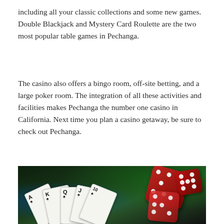including all your classic collections and some new games. Double Blackjack and Mystery Card Roulette are the two most popular table games in Pechanga.
The casino also offers a bingo room, off-site betting, and a large poker room. The integration of all these activities and facilities makes Pechanga the number one casino in California. Next time you plan a casino getaway, be sure to check out Pechanga.
[Figure (photo): Casino themed photo showing playing cards (A, K, Q, J, 10 of spades) fanned out in a hand, with large red translucent dice tumbling in the background, against a dark green casino table environment with blue-lit gaming screens.]